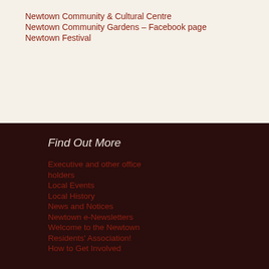Newtown Community & Cultural Centre
Newtown Community Gardens – Facebook page
Newtown Festival
Find Out More
Executive and other office holders
Local Events
Local History
News and Notices
Newtown e-Newsletters
Welcome to the Newtown Residents' Association!
How to Get Involved